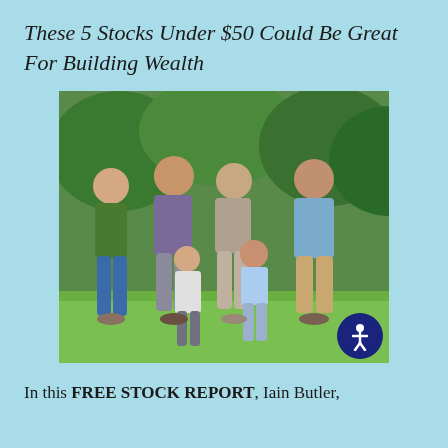These 5 Stocks Under $50 Could Be Great For Building Wealth
[Figure (photo): A multi-generational family of six posing together on a green lawn outdoors, smiling, with trees in the background. Family includes a young woman, middle-aged man, older woman, older man, and two young children.]
In this FREE STOCK REPORT, Iain Butler,